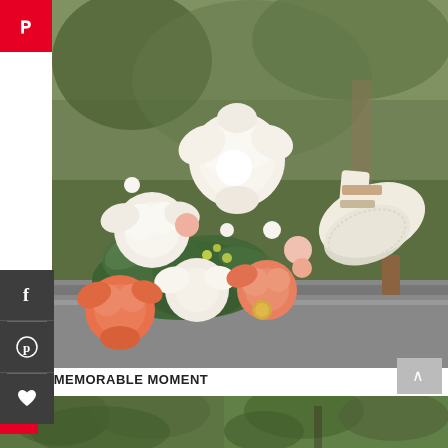[Figure (photo): Wedding bouquet with white and coral/pink peonies and roses with greenery, next to a white lace wedding heel shoe on a stone surface, blurred green outdoor background]
MOST MEMORABLE MOMENT
I really loved our first look. It was exciting and also calming to see Mac for the first time. I feel like it broke the ice and allowed me to just relax and enjoy the whole day.
[Figure (photo): Two outdoor wedding photos showing greenery/trees, partially visible at bottom of page]